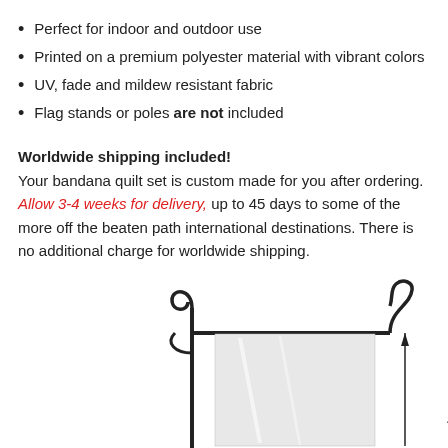Perfect for indoor and outdoor use
Printed on a premium polyester material with vibrant colors
UV, fade and mildew resistant fabric
Flag stands or poles are not included
Worldwide shipping included!
Your bandana quilt set is custom made for you after ordering. Allow 3-4 weeks for delivery, up to 45 days to some of the more off the beaten path international destinations. There is no additional charge for worldwide shipping.
[Figure (illustration): Diagram of a garden flag on a metal pole stand, with a measurement arrow on the right side labeled 17.5" (44...]